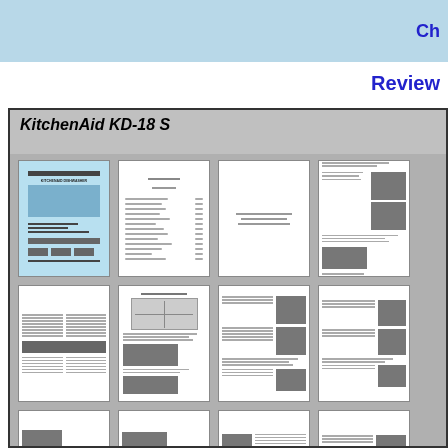Ch
Review
KitchenAid KD-18 S
[Figure (screenshot): Grid of document page thumbnails showing KitchenAid KD-18 service manual pages including cover, table of contents, diagrams, and photo-illustrated repair procedures]